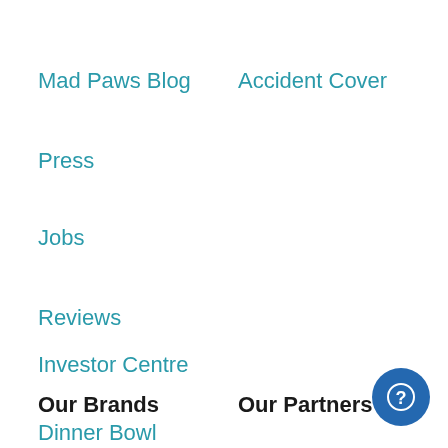Mad Paws Blog
Accident Cover
Press
Jobs
Reviews
Investor Centre
Our Brands
Our Partners
Dinner Bowl
[Figure (illustration): Circular help/support button with question mark icon in white on blue background]